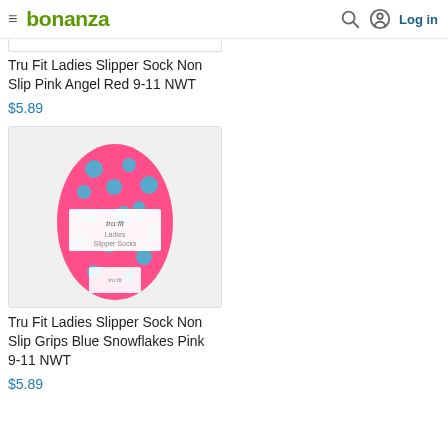bonanza | Log in
Tru Fit Ladies Slipper Sock Non Slip Pink Angel Red 9-11 NWT
$5.89
[Figure (photo): Pink slipper socks with blue polka dot pattern, tru:fit brand label, Ladies Slipper Socks packaging]
Tru Fit Ladies Slipper Sock Non Slip Grips Blue Snowflakes Pink 9-11 NWT
$5.89